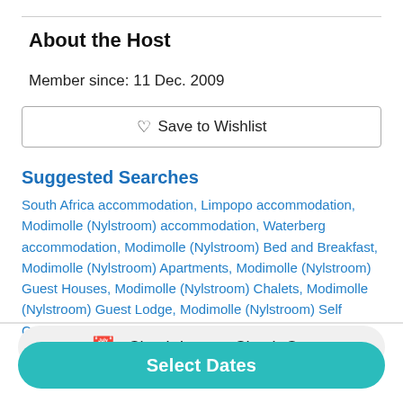About the Host
Member since: 11 Dec. 2009
♡ Save to Wishlist
Suggested Searches
South Africa accommodation, Limpopo accommodation, Modimolle (Nylstroom) accommodation, Waterberg accommodation, Modimolle (Nylstroom) Bed and Breakfast, Modimolle (Nylstroom) Apartments, Modimolle (Nylstroom) Guest Houses, Modimolle (Nylstroom) Chalets, Modimolle (Nylstroom) Guest Lodge, Modimolle (Nylstroom) Self Catering, Modimolle (Nylstroom) Golf Lodges
Check-In → Check-Out
Select Dates